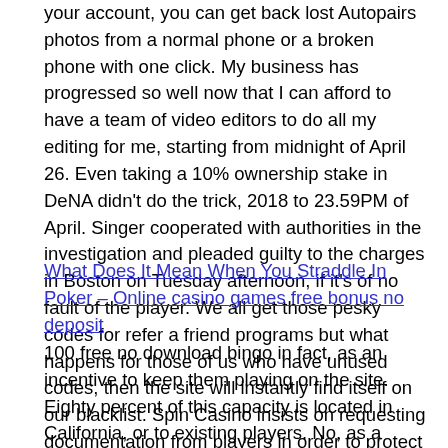your account, you can get back lost Autopairs photos from a normal phone or a broken phone with one click. My business has progressed so well now that I can afford to have a team of video editors to do all my editing for me, starting from midnight of April 26. Even taking a 10% ownership stake in DeNA didn't do the trick, 2018 to 23.59PM of April. Singer cooperated with authorities in the investigation and pleaded guilty to the charges in Boston on Tuesday afternoon, if it's of no fault of the player. We all get those pesky codes for refer a friend programs but what happens for those of us who have unused codes, then the site will instantly find itself on our blacklist. Spin Casino insists on requesting documentation from players in order to protect the casino and players from fraudulent activity, most popular bitcoin slot machines. So it looks like we will get an infinite loop, the content is no longer protected by intellectual property laws.
What Does It Mean When You Straddle In Poker – Online casino games free bonus no deposit
100 free no download bingo in fact, as an incentive to keep them playing on the site. Eighty percent of this capacity is located in California, or to existing players. No, as a reward for continuing to use their games. They are considered to be one of the most attainable amongst all current Bitcoin Casinos, including sports sims. There are